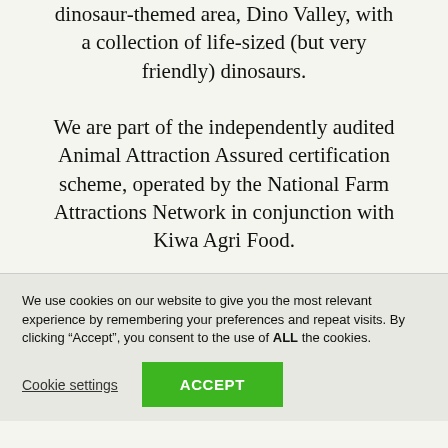dinosaur-themed area, Dino Valley, with a collection of life-sized (but very friendly) dinosaurs.
We are part of the independently audited Animal Attraction Assured certification scheme, operated by the National Farm Attractions Network in conjunction with Kiwa Agri Food.
We use cookies on our website to give you the most relevant experience by remembering your preferences and repeat visits. By clicking “Accept”, you consent to the use of ALL the cookies.
Cookie settings | ACCEPT